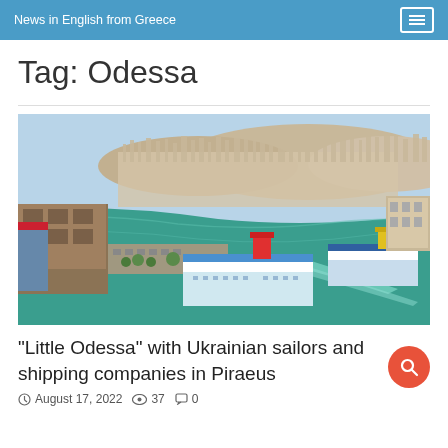News in English from Greece
Tag: Odessa
[Figure (photo): Aerial view of Piraeus port showing cruise ships and ferry vessels docked at the port with the city of Athens in the background]
"Little Odessa" with Ukrainian sailors and shipping companies in Piraeus
August 17, 2022  37  0